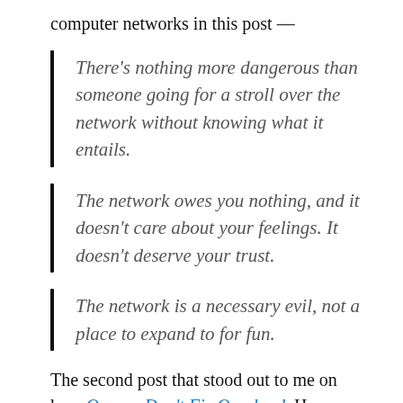computer networks in this post —
There's nothing more dangerous than someone going for a stroll over the network without knowing what it entails.
The network owes you nothing, and it doesn't care about your feelings. It doesn't deserve your trust.
The network is a necessary evil, not a place to expand to for fun.
The second post that stood out to me on how Queues Don't Fix Overload. He explains in simple